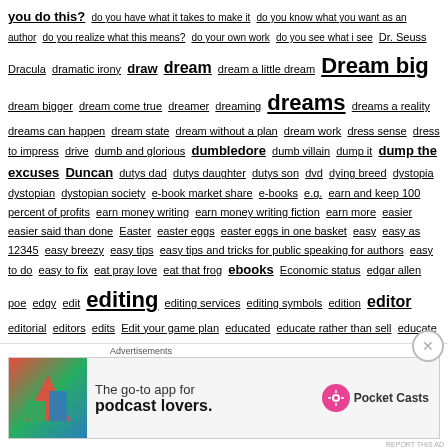you do this? do you have what it takes to make it do you know what you want as an author do you realize what this means? do your own work do you see what i see Dr. Seuss Dracula dramatic irony draw dream dream a little dream Dream big dream bigger dream come true dreamer dreaming dreams dreams a reality dreams can happen dream state dream without a plan dream work dress sense dress to impress drive dumb and glorious dumbledore dumb villain dump it dump the excuses Duncan dutys dad dutys daughter dutys son dvd dying breed dystopia dystopian dystopian society e-book market share e-books e.g. earn and keep 100 percent of profits earn money writing earn money writing fiction earn more easier easier said than done Easter easter eggs easter eggs in one basket easy easy as 12345 easy breezy easy tips easy tips and tricks for public speaking for authors easy to do easy to fix eat pray love eat that frog ebooks Economic status edgar allen poe edgy edit editing editing services editing symbols edition editor editorial editors edits Edit your game plan educated educate rather than sell educate yourself education educational educational material educational reform educational
[Figure (infographic): Pocket Casts advertisement: The go-to app for podcast lovers.]